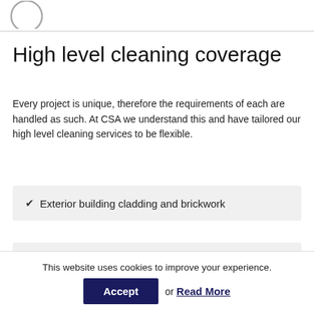[Figure (logo): Partial circular logo / brand mark in grey outline, top-left corner]
High level cleaning coverage
Every project is unique, therefore the requirements of each are handled as such. At CSA we understand this and have tailored our high level cleaning services to be flexible.
Exterior building cladding and brickwork
Exterior and interior windows
This website uses cookies to improve your experience.
Accept or Read More